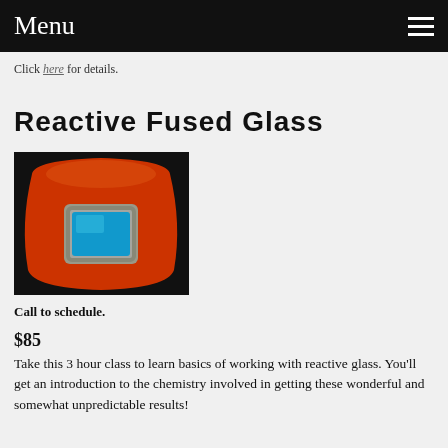Menu
Click here for details.
Reactive Fused Glass
[Figure (photo): Orange fused glass plate with a turquoise square center piece surrounded by a metallic/silvery border, on a dark background.]
Call to schedule.
$85
Take this 3 hour class to learn basics of working with reactive glass.  You'll get an introduction to the chemistry involved in getting these wonderful and somewhat unpredictable results!